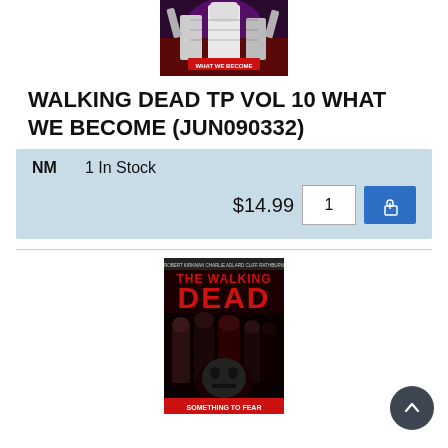[Figure (illustration): Comic book cover thumbnail for Walking Dead TP Vol 10 What We Become, showing zombie figures in black and white with purple/dark background and red text overlay]
WALKING DEAD TP VOL 10 WHAT WE BECOME (JUN090332)
NM    1 In Stock
$14.99    1    [Add to Cart button]
[Figure (illustration): Comic book cover for The Walking Dead, showing The Walking Dead logo in red letters on dark background with zombie figures]